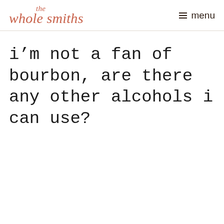the whole smiths  ≡ menu
i'm not a fan of bourbon, are there any other alcohols i can use?